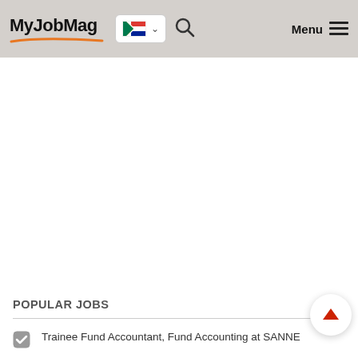MyJobMag
POPULAR JOBS
Trainee Fund Accountant, Fund Accounting at SANNE
Registered Junior Counsellor - Department of Student Affairs at